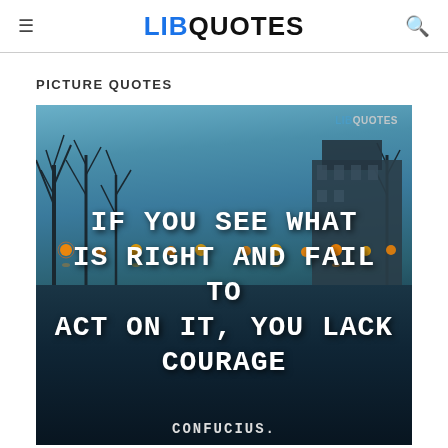LIB QUOTES
PICTURE QUOTES
[Figure (illustration): A scenic photo of a canal in China at dusk with bare trees, glowing red lanterns reflecting on the water, and city buildings in the background. Overlaid text reads: IF YOU SEE WHAT IS RIGHT AND FAIL TO ACT ON IT, YOU LACK COURAGE — CONFUCIUS. The LIBQUOTES watermark appears in the top-right corner.]